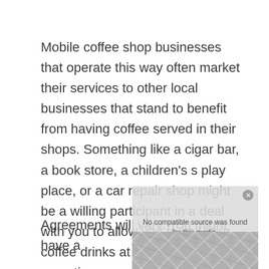Mobile coffee shop businesses that operate this way often market their services to other local businesses that stand to benefit from having coffee served in their shops. Something like a cigar bar, a book store, a children's play place, or a car repair shop might be a willing participant in a deal with you to allow you to sell your coffee drinks at specified agreed upon times.
Agreements will vary. You might have a
[Figure (other): Video/media ad overlay with error message 'No compatible source was found for this media.' and geometric diamond pattern background, with playback and close controls]